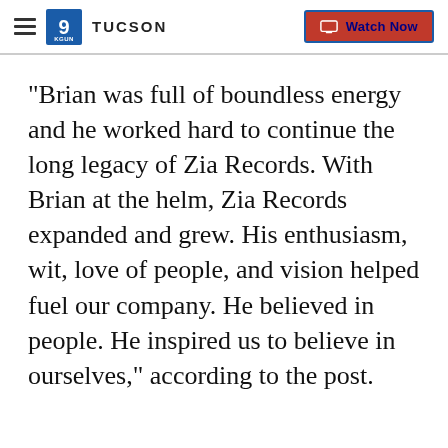9 TUCSON | Watch Now
"Brian was full of boundless energy and he worked hard to continue the long legacy of Zia Records. With Brian at the helm, Zia Records expanded and grew. His enthusiasm, wit, love of people, and vision helped fuel our company. He believed in people. He inspired us to believe in ourselves," according to the post.